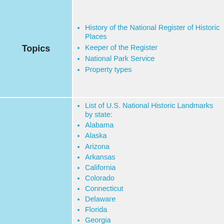Topics
History of the National Register of Historic Places
Keeper of the Register
National Park Service
Property types
List of U.S. National Historic Landmarks by state:
Alabama
Alaska
Arizona
Arkansas
California
Colorado
Connecticut
Delaware
Florida
Georgia
Hawaii